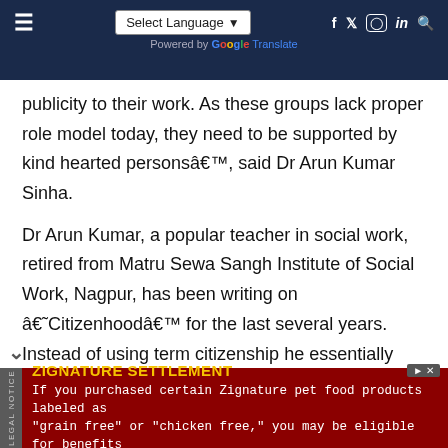Select Language | Powered by Google Translate | Social icons
publicity to their work. As these groups lack proper role model today, they need to be supported by kind hearted personsâ€™, said Dr Arun Kumar Sinha.
Dr Arun Kumar, a popular teacher in social work, retired from Matru Sewa Sangh Institute of Social Work, Nagpur, has been writing on â€˜Citizenhoodâ€™ for the last several years. Instead of using term citizenship he essentially speaks and writes about responsibility of a person as a citizen of this nation. Compare the term citizenhood with motherhood or childhood to realise its
[Figure (screenshot): Advertisement banner for Zignature Settlement legal notice in dark red background with yellow title text]
ZIGNATURE SETTLEMENT
If you purchased certain Zignature pet food products labeled as "grain free" or "chicken free," you may be eligible for benefits